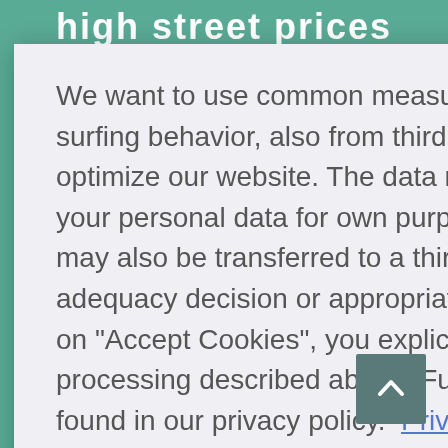high street prices
We want to use common measurement technologies for surfing behavior, also from third parties. These are used to optimize our website. The data recipients may process your personal data for own purposes. Your personal data may also be transferred to a third country without an adequacy decision or appropriate safeguards. By clicking on "Accept Cookies", you explicitly consent to the processing described above. Further information can be found in our privacy policy.  Privacy Policy
Reject Cookies
Accept Cookies